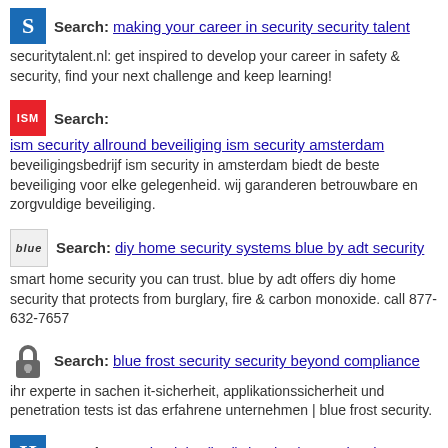Search: making your career in security security talent — securitytalent.nl: get inspired to develop your career in safety & security, find your next challenge and keep learning!
Search: ism security allround beveiliging ism security amsterdam — beveiligingsbedrijf ism security in amsterdam biedt de beste beveiliging voor elke gelegenheid. wij garanderen betrouwbare en zorgvuldige beveiliging.
Search: diy home security systems blue by adt security — smart home security you can trust. blue by adt offers diy home security that protects from burglary, fire & carbon monoxide. call 877-632-7657
Search: blue frost security security beyond compliance — ihr experte in sachen it-sicherheit, applikationssicherheit und penetration tests ist das erfahrene unternehmen | blue frost security.
Search: security delta (hsd) the dutch security cluster